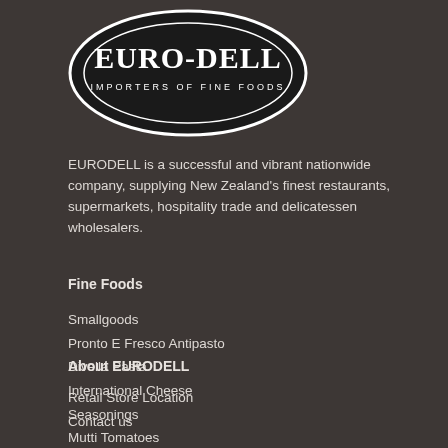[Figure (logo): Euro-Dell Importers of Fine Foods oval logo — white oval with white ellipse inside on black background, text EURO-DELL in large serif letters and IMPORTERS OF FINE FOODS in small spaced capitals below]
EURODELL is a successful and vibrant nationwide company, supplying New Zealand's finest restaurants, supermarkets, hospitality trade and delicatessen wholesalers.
Fine Foods
Smallgoods
Pronto E Fresco Antipasto
Divella Pasta
International Cheese
Seasonings
Mutti Tomatoes
All
About EURODELL
Retail Store Location
Contact us